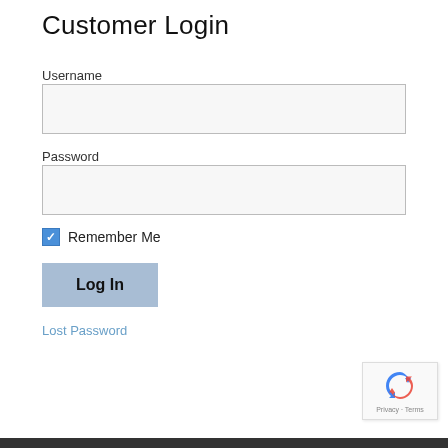Customer Login
Username
[Figure (screenshot): Empty username text input field with light gray background and gray border]
Password
[Figure (screenshot): Empty password text input field with light gray background and gray border]
Remember Me (checked checkbox)
Log In
Lost Password
[Figure (logo): Google reCAPTCHA widget with circular arrow icon and 'Privacy - Terms' text]